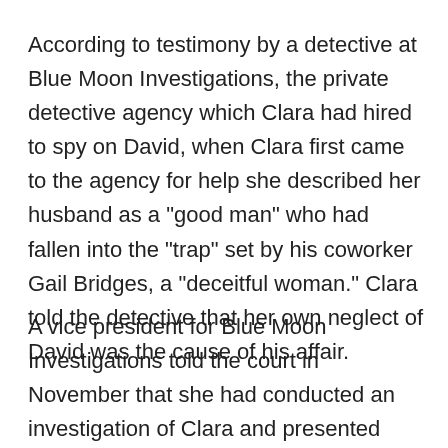According to testimony by a detective at Blue Moon Investigations, the private detective agency which Clara had hired to spy on David, when Clara first came to the agency for help she described her husband as a "good man" who had fallen into the "trap" set by his coworker Gail Bridges, a "deceitful woman." Clara told the detective that her own neglect of David was the cause of his affair.
A vice president for Blue Moon Investigations told the court in November that she had conducted an investigation of Clara and presented several audio tapes on which, according to the news department of a Houston television station, "witnesses claim that Clara